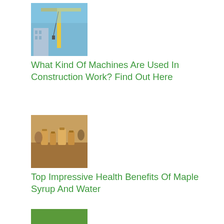[Figure (photo): Construction crane against a blue sky]
What Kind Of Machines Are Used In Construction Work? Find Out Here
[Figure (photo): People gathered around a wooden table with various items]
Top Impressive Health Benefits Of Maple Syrup And Water
[Figure (photo): Person lying on green grass]
How To Successfully Overcome Alcohol Dependence: 6 Helpful Tips
The Major Health Benefits Of Smoothies For Your Kids